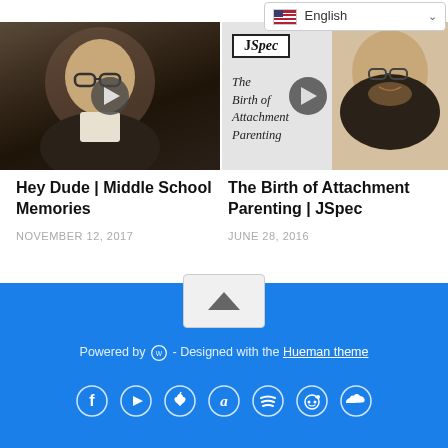[Figure (screenshot): Language selector dropdown showing English with flag]
[Figure (photo): Video thumbnail showing a man with glasses and beard, dark background, play button overlay - Hey Dude Middle School Memories]
[Figure (photo): Video thumbnail showing JSpec logo, text 'The Birth of Attachment Parenting', and a man with glasses and beard, play button overlay]
Hey Dude | Middle School Memories
NOVEMBER 12, 2017
The Birth of Attachment Parenting | JSpec
JUNE 28, 2016
Powered by WordPress - Designed with the Hueman theme